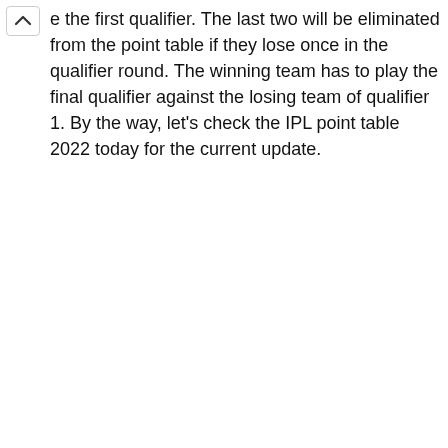e the first qualifier. The last two will be eliminated from the point table if they lose once in the qualifier round. The winning team has to play the final qualifier against the losing team of qualifier 1. By the way, let's check the IPL point table 2022 today for the current update.